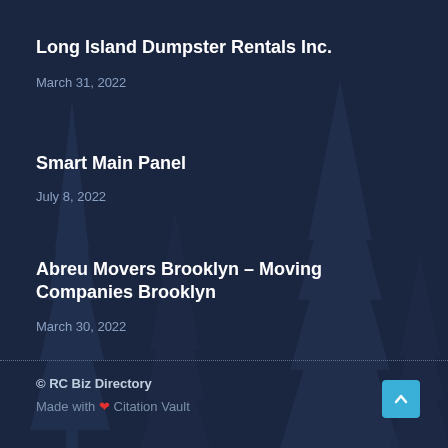Long Island Dumpster Rentals Inc.
March 31, 2022
Smart Main Panel
July 8, 2022
Abreu Movers Brooklyn – Moving Companies Brooklyn
March 30, 2022
© RC Biz Directory
Made with ❤ Citation Vault